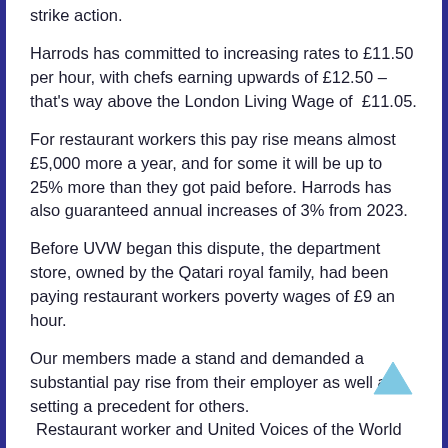strike action.
Harrods has committed to increasing rates to £11.50 per hour, with chefs earning upwards of £12.50 – that's way above the London Living Wage of  £11.05.
For restaurant workers this pay rise means almost £5,000 more a year, and for some it will be up to 25% more than they got paid before. Harrods has also guaranteed annual increases of 3% from 2023.
Before UVW began this dispute, the department store, owned by the Qatari royal family, had been paying restaurant workers poverty wages of £9 an hour.
Our members made a stand and demanded a substantial pay rise from their employer as well as setting a precedent for others.
Restaurant worker and United Voices of the World